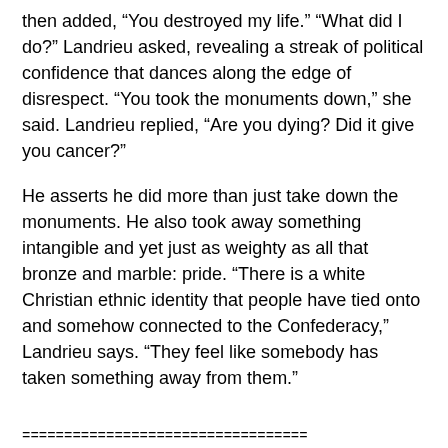then added, “You destroyed my life.” “What did I do?” Landrieu asked, revealing a streak of political confidence that dances along the edge of disrespect. “You took the monuments down,” she said. Landrieu replied, “Are you dying? Did it give you cancer?”
He asserts he did more than just take down the monuments. He also took away something intangible and yet just as weighty as all that bronze and marble: pride. “There is a white Christian ethnic identity that people have tied onto and somehow connected to the Confederacy,” Landrieu says. “They feel like somebody has taken something away from them.”
==================================